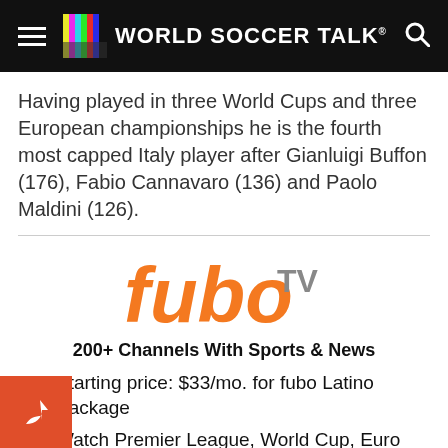World Soccer Talk
Having played in three World Cups and three European championships he is the fourth most capped Italy player after Gianluigi Buffon (176), Fabio Cannavaro (136) and Paolo Maldini (126).
[Figure (logo): fuboTV logo in orange and grey]
200+ Channels With Sports & News
Starting price: $33/mo. for fubo Latino Package
Watch Premier League, World Cup, Euro 2024 & more